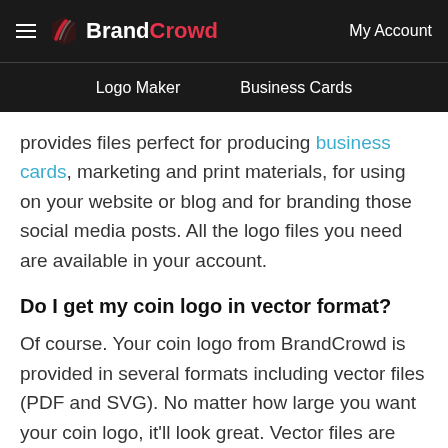BrandCrowd — My Account | Logo Maker | Business Cards
provides files perfect for producing business cards, marketing and print materials, for using on your website or blog and for branding those social media posts. All the logo files you need are available in your account.
Do I get my coin logo in vector format?
Of course. Your coin logo from BrandCrowd is provided in several formats including vector files (PDF and SVG). No matter how large you want your coin logo, it'll look great. Vector files are used to create print layouts and illustrations as they ensure the same quality appearance across all formats and